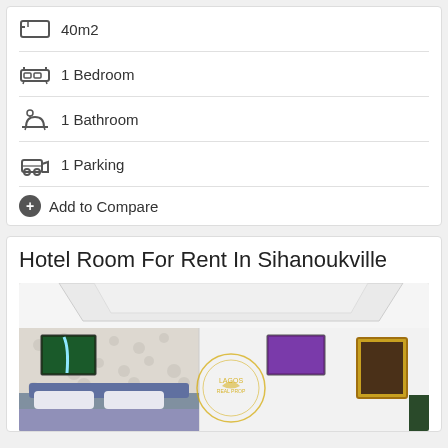40m2
1 Bedroom
1 Bathroom
1 Parking
Add to Compare
Hotel Room For Rent In Sihanoukville
[Figure (photo): Interior photo of a hotel room in Sihanoukville showing white ceiling with tray detail, patterned wallpaper, a bed, and decorative wall art. A gold circular logo watermark is overlaid on the image.]